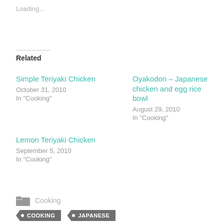Loading...
Related
Simple Teriyaki Chicken
October 31, 2010
In "Cooking"
Oyakodon – Japanese chicken and egg rice bowl
August 29, 2010
In "Cooking"
Lemon Teriyaki Chicken
September 5, 2010
In "Cooking"
Cooking
COOKING
JAPANESE